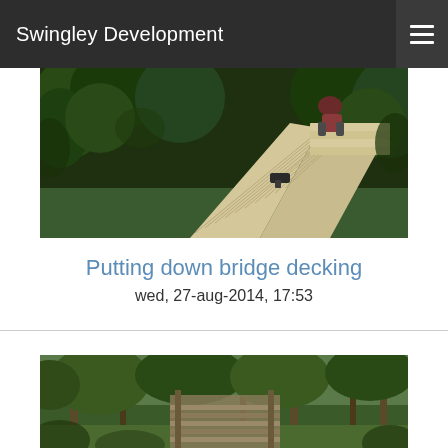Swingley Development
[Figure (photo): Person working on a wooden bridge deck being constructed over water in a forested area. Fresh pale timber planks are laid out, with a cordless drill visible on the decking.]
Putting down bridge decking
wed, 27-aug-2014, 17:53
[Figure (photo): View of a completed wooden bridge structure through a forest with green trees and foliage surrounding it.]